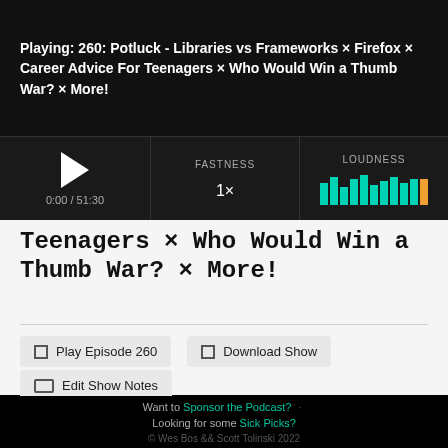[Figure (screenshot): Teal/green gradient logo square in top-left corner]
Playing: 260: Potluck - Libraries vs Frameworks × Firefox × Career Advice For Teenagers × Who Would Win a Thumb War? × More!
[Figure (screenshot): Audio player controls with play button, time 0:00 / 51:30, FASTNESS label with 1× speed, LOUDNESS label with teal and orange bar meter]
Teenagers × Who Would Win a Thumb War? × More!
Play Episode 260
Download Show
Edit Show Notes
Want to Sponsor the Podcast? ·
Looking for some Sick Picks?
© Wes Bos && Scott Tolinski 2022